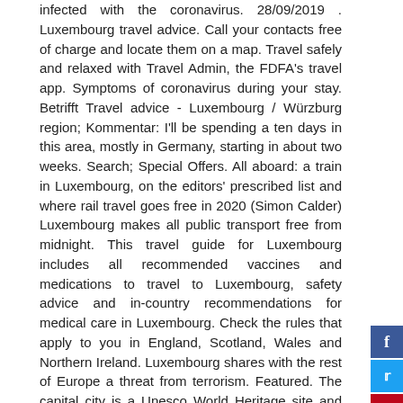infected with the coronavirus. 28/09/2019 . Luxembourg travel advice. Call your contacts free of charge and locate them on a map. Travel safely and relaxed with Travel Admin, the FDFA's travel app. Symptoms of coronavirus during your stay. Betrifft Travel advice - Luxembourg / Würzburg region; Kommentar: I'll be spending a ten days in this area, mostly in Germany, starting in about two weeks. Search; Special Offers. All aboard: a train in Luxembourg, on the editors' prescribed list and where rail travel goes free in 2020 (Simon Calder) Luxembourg makes all public transport free from midnight. This travel guide for Luxembourg includes all recommended vaccines and medications to travel to Luxembourg, safety advice and in-country recommendations for medical care in Luxembourg. Check the rules that apply to you in England, Scotland, Wales and Northern Ireland. Luxembourg shares with the rest of Europe a threat from terrorism. Featured. The capital city is a Unesco World Heritage site and the country is thought to house at least 100 castles. Luxembourg's crime level is relatively low, however tourists are often easy targets of pick pocketing. Including British consulate and embassy addresses in Luxembourg (Luxembourg). General Travel Advice. Search Lonely Planet. Read our Luxembourg travel tips and advice brought together by our specialists who have expert knowledge to help you plan your trip Luxembourg Holidays; Places Hotels Things to do Best time to visit Close. Refine your search by districts by clicking on Luxembourg, Esch-sur-Alzette, WiltzConsultation de voyage, Agence de voyage,
[Figure (other): Social media share buttons: Facebook (blue), Twitter (light blue), Pinterest (red)]